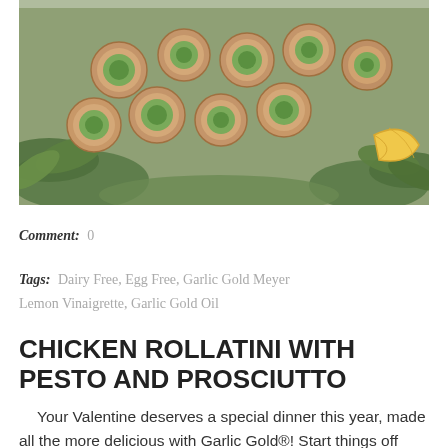[Figure (photo): Chicken rollatini pinwheel slices arranged on a bed of fresh basil leaves, with a lemon wedge on the side. The rolls show pesto and prosciutto filling.]
Comment: 0
Tags: Dairy Free, Egg Free, Garlic Gold Meyer Lemon Vinaigrette, Garlic Gold Oil
CHICKEN ROLLATINI WITH PESTO AND PROSCIUTTO
Your Valentine deserves a special dinner this year, made all the more delicious with Garlic Gold®! Start things off with our bruschetta recipe,